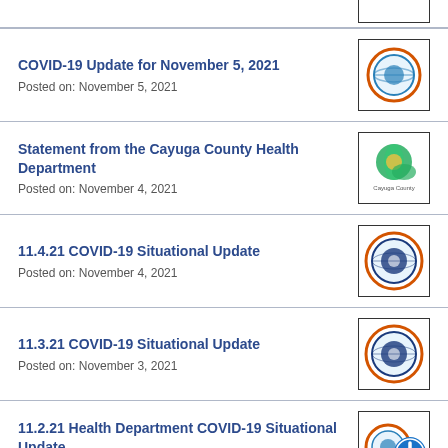COVID-19 Update for November 5, 2021
Posted on: November 5, 2021
Statement from the Cayuga County Health Department
Posted on: November 4, 2021
11.4.21 COVID-19 Situational Update
Posted on: November 4, 2021
11.3.21 COVID-19 Situational Update
Posted on: November 3, 2021
11.2.21 Health Department COVID-19 Situational Update
Posted on: November 2, 2021